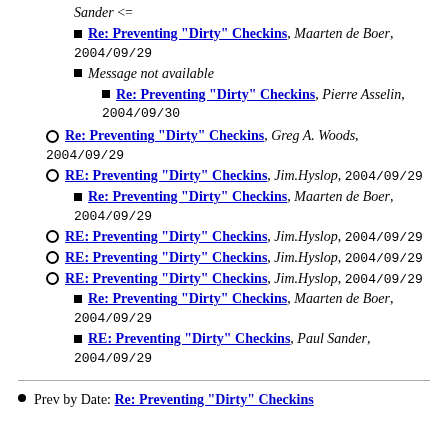Sander <=
Re: Preventing "Dirty" Checkins, Maarten de Boer, 2004/09/29
Message not available
Re: Preventing "Dirty" Checkins, Pierre Asselin, 2004/09/30
Re: Preventing "Dirty" Checkins, Greg A. Woods, 2004/09/29
RE: Preventing "Dirty" Checkins, Jim.Hyslop, 2004/09/29
Re: Preventing "Dirty" Checkins, Maarten de Boer, 2004/09/29
RE: Preventing "Dirty" Checkins, Jim.Hyslop, 2004/09/29
RE: Preventing "Dirty" Checkins, Jim.Hyslop, 2004/09/29
RE: Preventing "Dirty" Checkins, Jim.Hyslop, 2004/09/29
Re: Preventing "Dirty" Checkins, Maarten de Boer, 2004/09/29
RE: Preventing "Dirty" Checkins, Paul Sander, 2004/09/29
Prev by Date: Re: Preventing "Dirty" Checkins